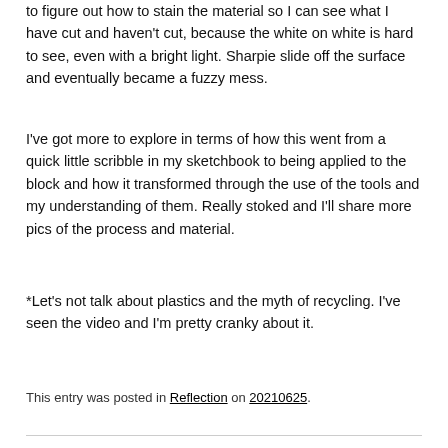to figure out how to stain the material so I can see what I have cut and haven't cut, because the white on white is hard to see, even with a bright light. Sharpie slide off the surface and eventually became a fuzzy mess.
I've got more to explore in terms of how this went from a quick little scribble in my sketchbook to being applied to the block and how it transformed through the use of the tools and my understanding of them. Really stoked and I'll share more pics of the process and material.
*Let's not talk about plastics and the myth of recycling. I've seen the video and I'm pretty cranky about it.
This entry was posted in Reflection on 20210625.